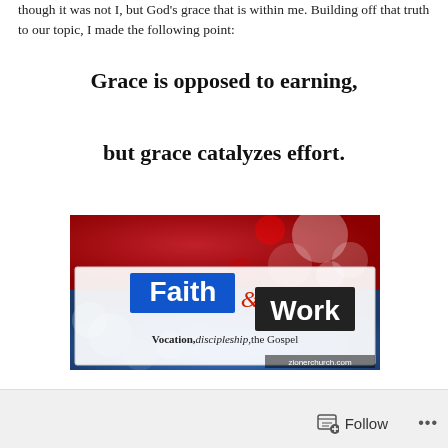though it was not I, but God's grace that is within me. Building off that truth to our topic, I made the following point:
Grace is opposed to earning,
but grace catalyzes effort.
[Figure (illustration): Faith & Work image with red and blue bokeh background. Text reads: 'Faith & Work — Vocation, discipleship, the Gospel' with website zionerchurch.com]
Follow •••